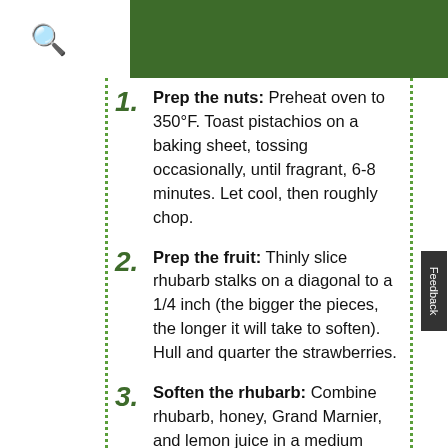1. Prep the nuts: Preheat oven to 350°F. Toast pistachios on a baking sheet, tossing occasionally, until fragrant, 6-8 minutes. Let cool, then roughly chop.
2. Prep the fruit: Thinly slice rhubarb stalks on a diagonal to a 1/4 inch (the bigger the pieces, the longer it will take to soften). Hull and quarter the strawberries.
3. Soften the rhubarb: Combine rhubarb, honey, Grand Marnier, and lemon juice in a medium bowl. Let sit until rhubarb is slightly softened and...